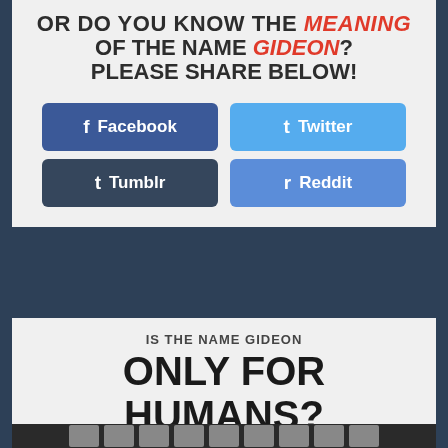OR DO YOU KNOW THE MEANING OF THE NAME GIDEON? PLEASE SHARE BELOW!
[Figure (infographic): Social share buttons: Facebook (dark blue), Twitter (light blue), Tumblr (dark slate), Reddit (steel blue)]
IS THE NAME GIDEON
ONLY FOR HUMANS?
NOPE